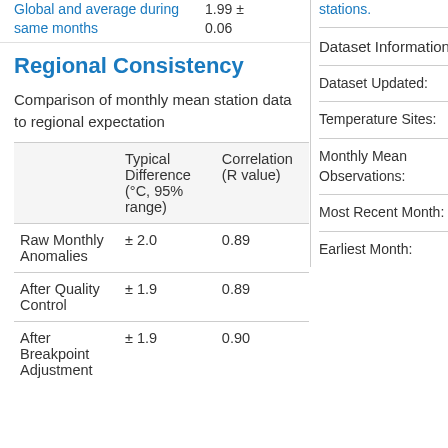Global and average during same months   1.99 ± 0.06
stations.
Regional Consistency
Comparison of monthly mean station data to regional expectation
|  | Typical Difference (°C, 95% range) | Correlation (R value) |
| --- | --- | --- |
| Raw Monthly Anomalies | ± 2.0 | 0.89 |
| After Quality Control | ± 1.9 | 0.89 |
| After Breakpoint Adjustment | ± 1.9 | 0.90 |
Dataset Information
Dataset Updated:
Temperature Sites:
Monthly Mean Observations:
Most Recent Month:
Earliest Month: